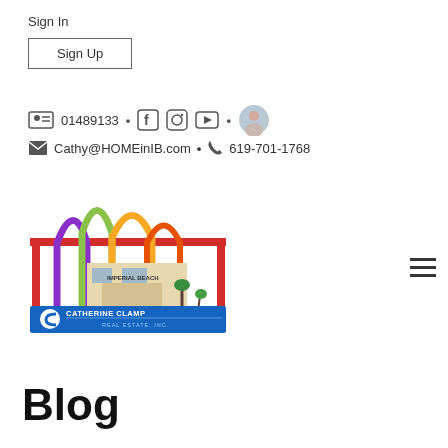Sign In
Sign Up
01489133 • Cathy@HOMEinIB.com • 619-701-1768
[Figure (logo): Catherine Clamp Real Estate Inc. logo with colorful arches and building illustration]
Blog